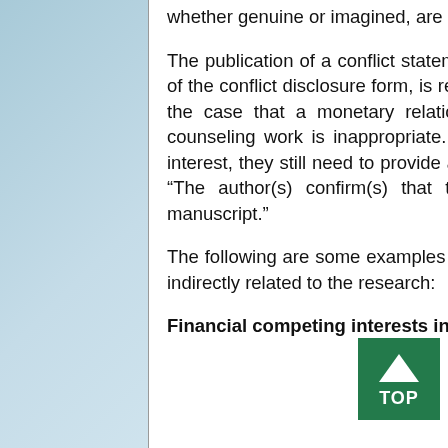whether genuine or imagined, are a perspective to which the readers are entitled.
The publication of a conflict statement in the article itself, as well as the submission of the conflict disclosure form, is required for all types of papers. It is not necessarily the case that a monetary relationship with examination support or funding for counseling work is inappropriate. Even if the authors do not have any conflict of interest, they still need to provide a confirmation statement in their manuscripts, i.e., “The author(s) confirm(s) that there is no conflict of interest related to the manuscript.”
The following are some examples of potential conflicts of interest that are directly or indirectly related to the research:
Financial competing interests include (but are not limited to):